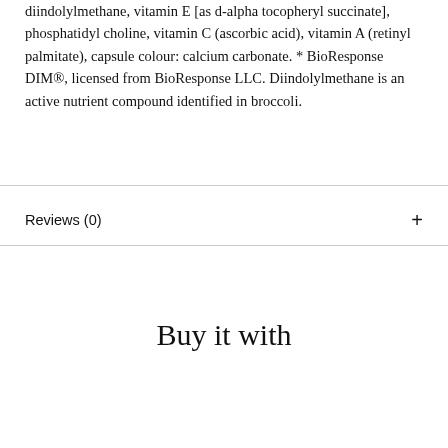diindolylmethane, vitamin E [as d-alpha tocopheryl succinate], phosphatidyl choline, vitamin C (ascorbic acid), vitamin A (retinyl palmitate), capsule colour: calcium carbonate. * BioResponse DIM®, licensed from BioResponse LLC. Diindolylmethane is an active nutrient compound identified in broccoli.
Reviews (0)
Buy it with